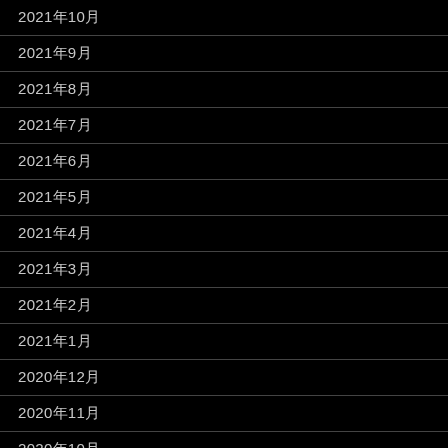2021年10月
2021年9月
2021年8月
2021年7月
2021年6月
2021年5月
2021年4月
2021年3月
2021年2月
2021年1月
2020年12月
2020年11月
2020年10月